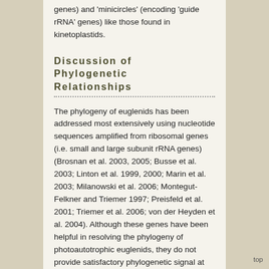genes) and 'minicircles' (encoding 'guide rRNA' genes) like those found in kinetoplastids.
Discussion of Phylogenetic Relationships
The phylogeny of euglenids has been addressed most extensively using nucleotide sequences amplified from ribosomal genes (i.e. small and large subunit rRNA genes) (Brosnan et al. 2003, 2005; Busse et al. 2003; Linton et al. 1999, 2000; Marin et al. 2003; Milanowski et al. 2006; Montegut-Felkner and Triemer 1997; Preisfeld et al. 2001; Triemer et al. 2006; von der Heyden et al. 2004). Although these genes have been helpful in resolving the phylogeny of photoautotrophic euglenids, they do not provide satisfactory phylogenetic signal at deeper levels in the phylogeny. The most compelling evidence for deep-level phylogenetic relationships of euglenids comes